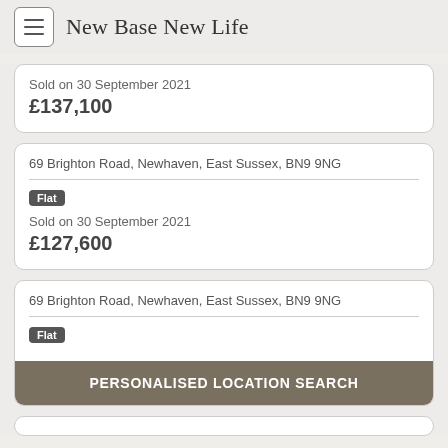New Base New Life
Sold on 30 September 2021
£137,100
69 Brighton Road, Newhaven, East Sussex, BN9 9NG
Flat
Sold on 30 September 2021
£127,600
69 Brighton Road, Newhaven, East Sussex, BN9 9NG
Flat
PERSONALISED LOCATION SEARCH